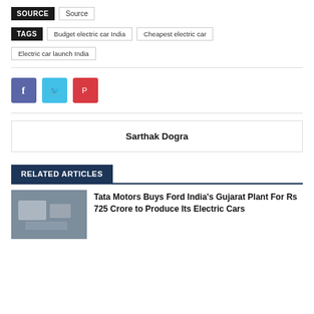SOURCE  Source
TAGS  Budget electric car India  Cheapest electric car  Electric car launch India
[Figure (other): Social share buttons: Facebook (blue), Twitter (cyan), Pinterest (red)]
Sarthak Dogra
RELATED ARTICLES
Tata Motors Buys Ford India's Gujarat Plant For Rs 725 Crore to Produce Its Electric Cars